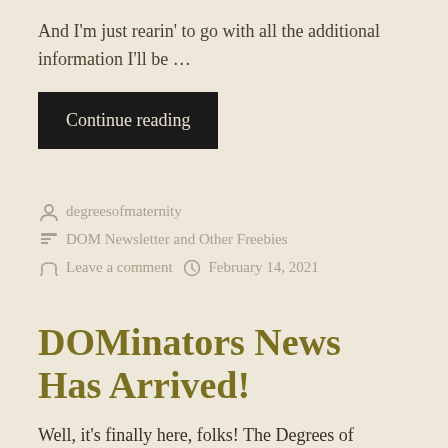And I'm just rearin' to go with all the additional information I'll be …
Continue reading
degreesofmaternity
DOM Newsletter and Other Freebies
Leave a comment   February 14, 2021
DOMinators News Has Arrived!
Well, it's finally here, folks! The Degrees of Maternity's